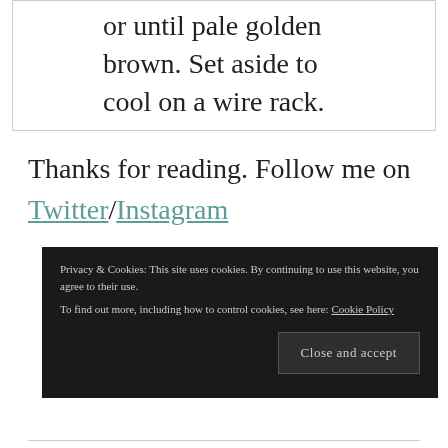or until pale golden brown. Set aside to cool on a wire rack.
Thanks for reading. Follow me on Twitter/Instagram
Privacy & Cookies: This site uses cookies. By continuing to use this website, you agree to their use.
To find out more, including how to control cookies, see here: Cookie Policy
Close and accept